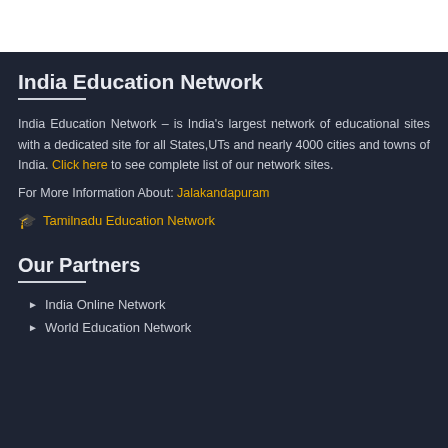India Education Network
India Education Network – is India's largest network of educational sites with a dedicated site for all States,UTs and nearly 4000 cities and towns of India. Click here to see complete list of our network sites.
For More Information About: Jalakandapuram
🎓  Tamilnadu Education Network
Our Partners
India Online Network
World Education Network